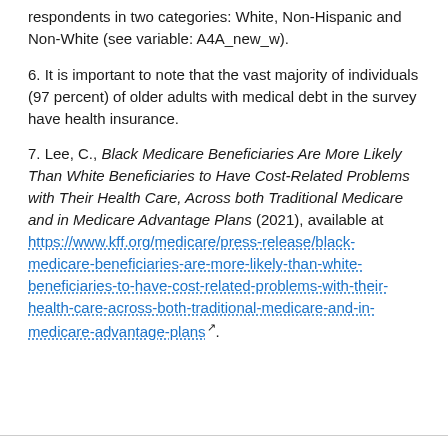respondents in two categories: White, Non-Hispanic and Non-White (see variable: A4A_new_w).
6. It is important to note that the vast majority of individuals (97 percent) of older adults with medical debt in the survey have health insurance.
7. Lee, C., Black Medicare Beneficiaries Are More Likely Than White Beneficiaries to Have Cost-Related Problems with Their Health Care, Across both Traditional Medicare and in Medicare Advantage Plans (2021), available at https://www.kff.org/medicare/press-release/black-medicare-beneficiaries-are-more-likely-than-white-beneficiaries-to-have-cost-related-problems-with-their-health-care-across-both-traditional-medicare-and-in-medicare-advantage-plans.